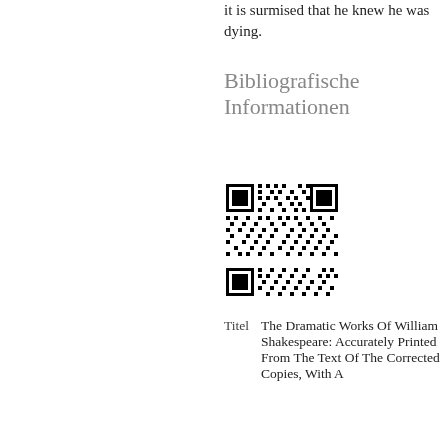it is surmised that he knew he was dying.
Bibliografische Informationen
[Figure (other): QR code for bibliographic information]
| Titel | The Dramatic Works Of William Shakespeare: Accurately Printed From The Text Of The Corrected Copies, With A |